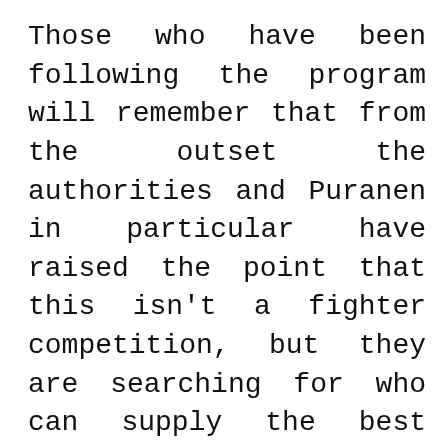Those who have been following the program will remember that from the outset the authorities and Puranen in particular have raised the point that this isn't a fighter competition, but they are searching for who can supply the best capability to meet the Finnish Defence Forces' needs in this field? This is why we see GlobalEye's, Loyal Wingmen, Growlers, and licensed production lines on offer. That's also why HX Challenge wasn't the deciding factor, but an all-out wargame simulating total war where the performance of the FDF with those capabilities included in the BAFO will be the deciding factor for who gets the contract.